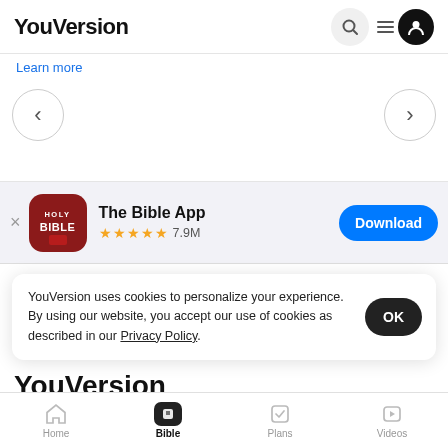YouVersion
[Figure (screenshot): Navigation carousel area with left and right circle arrow buttons and a Learn more link]
[Figure (screenshot): App download banner for The Bible App showing icon, 5 star rating 7.9M reviews, and a blue Download button]
YouVersion uses cookies to personalize your experience. By using our website, you accept our use of cookies as described in our Privacy Policy.
YouVersion
Home  Bible  Plans  Videos